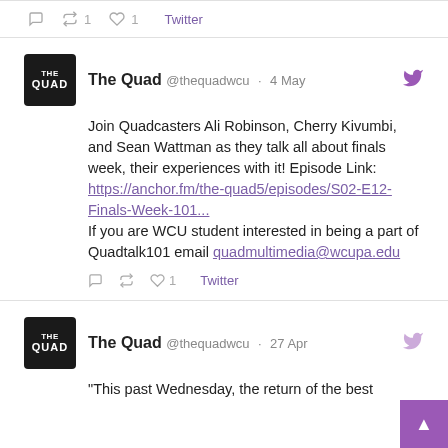1  1  Twitter
The Quad @thequadwcu · 4 May
Join Quadcasters Ali Robinson, Cherry Kivumbi, and Sean Wattman as they talk all about finals week, their experiences with it! Episode Link: https://anchor.fm/the-quad5/episodes/S02-E12-Finals-Week-101...
If you are WCU student interested in being a part of Quadtalk101 email quadmultimedia@wcupa.edu
1  Twitter
The Quad @thequadwcu · 27 Apr
"This past Wednesday, the return of the best